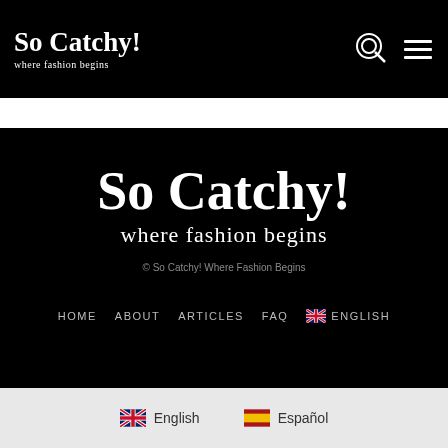So Catchy! where fashion begins
[Figure (logo): So Catchy! where fashion begins logo large white on black background]
© So Catchy! Where Fashion Begins
HOME   ABOUT   ARTICLES   FAQ   ENGLISH
English   Español